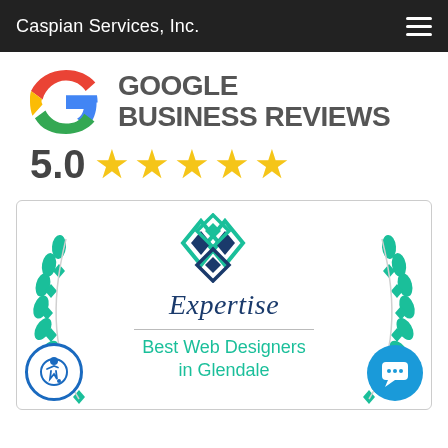Caspian Services, Inc.
[Figure (logo): Google Business Reviews logo with Google G icon and 5.0 five-star rating]
[Figure (logo): Expertise.com badge: Best Web Designers in Glendale, with teal diamond logo and laurel wreath decoration]